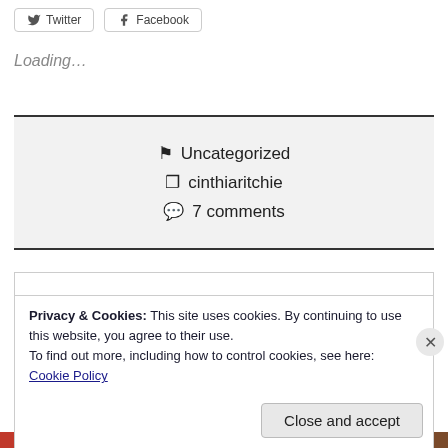Twitter   Facebook
Loading...
Uncategorized
cinthiaritchie
7 comments
Privacy & Cookies: This site uses cookies. By continuing to use this website, you agree to their use.
To find out more, including how to control cookies, see here:
Cookie Policy
Close and accept